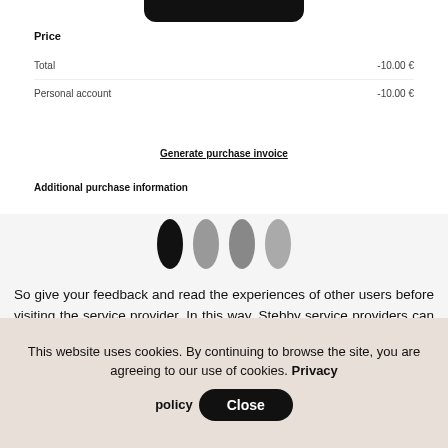[Figure (screenshot): Black rounded button at the top of a mobile UI card]
Price
|  |  |
| --- | --- |
| Total | -10.00 € |
| Personal account | -10.00 € |
Generate purchase invoice
Additional purchase information
[Figure (infographic): Loading indicator with four oval dots: one black and three gray]
So give your feedback and read the experiences of other users before visiting the service provider. In this way, Stebby service providers can make their services
This website uses cookies. By continuing to browse the site, you are agreeing to our use of cookies. Privacy policy
Close